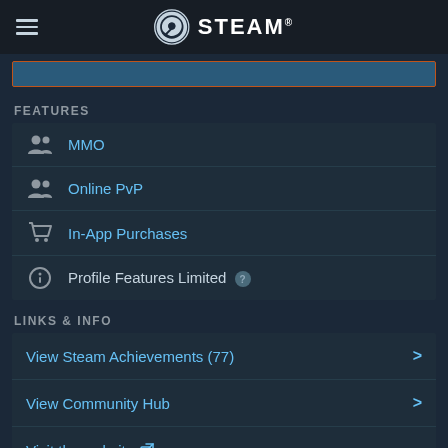STEAM
FEATURES
MMO
Online PvP
In-App Purchases
Profile Features Limited
LINKS & INFO
View Steam Achievements (77)
View Community Hub
Visit the website